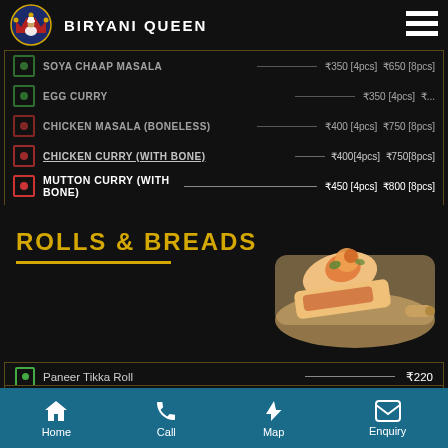[Figure (logo): Biryani Queen logo with crown and chef figure]
BIRYANI QUEEN
SOYA CHAAP MASALA — ₹350 [4pcs] ₹650 [8pcs]
EGG CURRY — ₹350 [4pcs] ...
CHICKEN MASALA (BONELESS) — ₹400 [4pcs] ₹750 [8pcs]
CHICKEN CURRY (WITH BONE) — ₹400 [4pcs] ₹750 [8pcs]
MUTTON CURRY (WITH BONE) — ₹450 [4pcs] ₹800 [8pcs]
ROLLS & BREADS
[Figure (photo): Photo of rolls/wraps on a wooden board]
Paneer Tikka Roll — ₹220
Soya Chaap Roll — ₹220
Chicken Seekh Roll — ₹250
Chicken Tikka Roll — ₹250
Mutton Seekh Roll — ₹270
Tandoori / Tawa Roti — ₹30
Naan — ₹40
Home | Call | Map | Enquiry